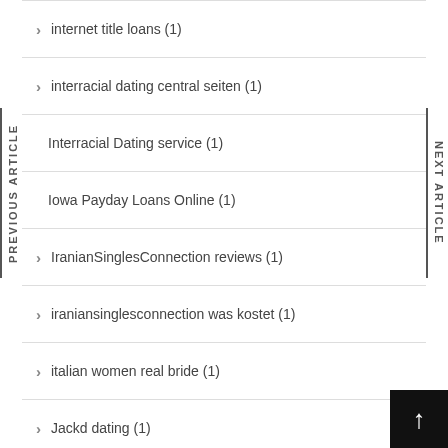internet title loans (1)
interracial dating central seiten (1)
Interracial Dating service (1)
Iowa Payday Loans Online (1)
IranianSinglesConnection reviews (1)
iraniansinglesconnection was kostet (1)
italian women real bride (1)
Jackd dating (1)